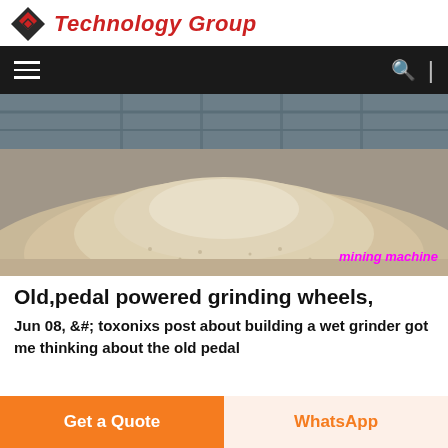Technology Group
[Figure (photo): Large pile of crushed stone or gravel aggregate inside an industrial warehouse with metal roof structure visible in background. Watermark text 'mining machine' in magenta italic.]
Old,pedal powered grinding wheels,
Jun 08, &#; toxonixs post about building a wet grinder got me thinking about the old pedal
Get a Quote
WhatsApp